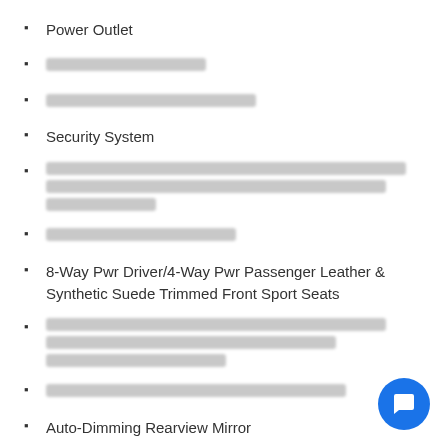Power Outlet
[redacted]
[redacted]
Security System
[redacted multi-line]
[redacted]
8-Way Pwr Driver/4-Way Pwr Passenger Leather & Synthetic Suede Trimmed Front Sport Seats
[redacted multi-line]
[redacted]
Auto-Dimming Rearview Mirror
[redacted]
[redacted]